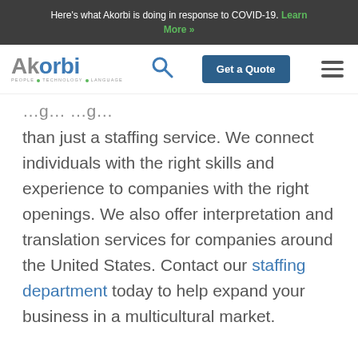Here's what Akorbi is doing in response to COVID-19. Learn More »
[Figure (logo): Akorbi logo with tagline PEOPLE TECHNOLOGY LANGUAGE and navigation bar with search icon, Get a Quote button, and hamburger menu]
than just a staffing service. We connect individuals with the right skills and experience to companies with the right openings. We also offer interpretation and translation services for companies around the United States. Contact our staffing department today to help expand your business in a multicultural market.